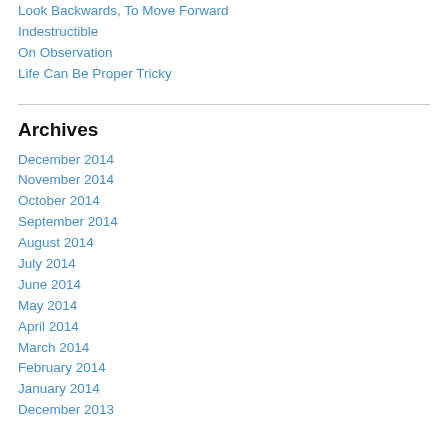Look Backwards, To Move Forward
Indestructible
On Observation
Life Can Be Proper Tricky
Archives
December 2014
November 2014
October 2014
September 2014
August 2014
July 2014
June 2014
May 2014
April 2014
March 2014
February 2014
January 2014
December 2013